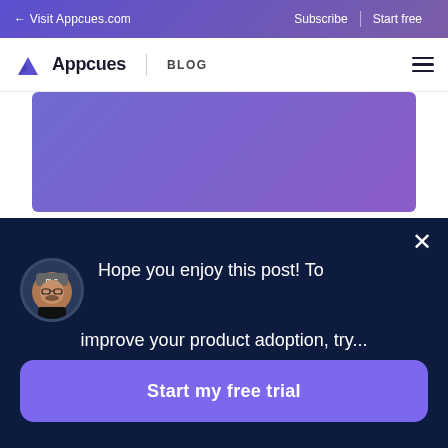← Visit Appcues.com   Subscribe   Start free
[Figure (logo): Appcues logo with triangle icon and BLOG label, hamburger menu on right]
[Figure (illustration): Purple/violet gradient rectangle image placeholder]
3. Provide a compelling, quick win for
[Figure (screenshot): Dark navy overlay popup with avatar photo, message text 'Hope you enjoy this post! To improve your product adoption, try...' and a purple CTA button 'Start my free trial' with close X button]